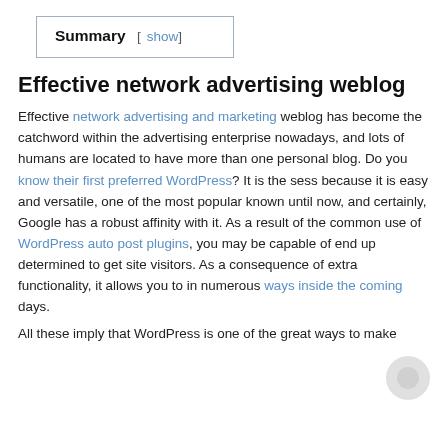| Summary | [ show ] |
| --- | --- |
Effective network advertising weblog
Effective network advertising and marketing weblog has become the catchword within the advertising enterprise nowadays, and lots of humans are located to have more than one personal blog. Do you know their first preferred WordPress? It is the sess because it is easy and versatile, one of the most popular known until now, and certainly, Google has a robust affinity with it. As a result of the common use of WordPress auto post plugins, you may be capable of end up determined to get site visitors. As a consequence of extra functionality, it allows you to in numerous ways inside the coming days.
All these imply that WordPress is one of the great ways to make